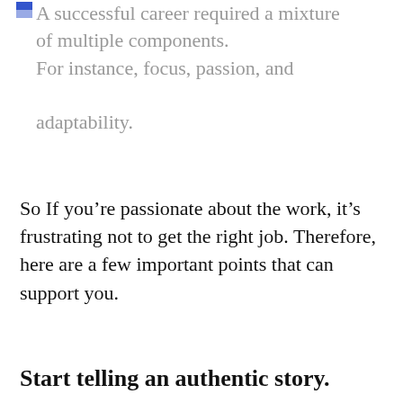A successful career required a mixture of multiple components. For instance, focus, passion, and adaptability.
So If you're passionate about the work, it's frustrating not to get the right job. Therefore, here are a few important points that can support you.
Start telling an authentic story.
We started in caves, telling stories around the fire. So we always believe in a genuine story. Therefore, building a story around your feelings and adding the human touch will allow the desition makers to create